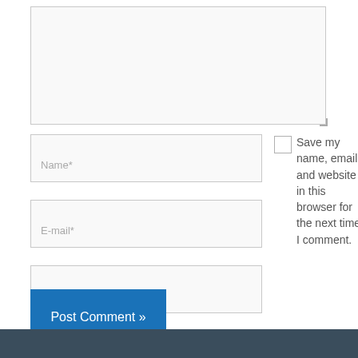[Figure (screenshot): Comment form with textarea, Name, E-mail, Website input fields, a Save my name checkbox, and a Post Comment button]
Save my name, email, and website in this browser for the next time I comment.
Post Comment »